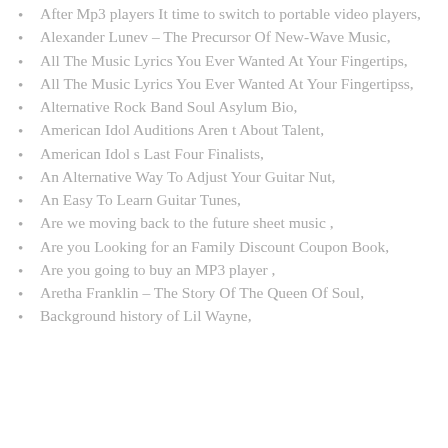After Mp3 players It time to switch to portable video players,
Alexander Lunev – The Precursor Of New-Wave Music,
All The Music Lyrics You Ever Wanted At Your Fingertips,
All The Music Lyrics You Ever Wanted At Your Fingertipss,
Alternative Rock Band Soul Asylum Bio,
American Idol Auditions Aren t About Talent,
American Idol s Last Four Finalists,
An Alternative Way To Adjust Your Guitar Nut,
An Easy To Learn Guitar Tunes,
Are we moving back to the future sheet music ,
Are you Looking for an Family Discount Coupon Book,
Are you going to buy an MP3 player ,
Aretha Franklin – The Story Of The Queen Of Soul,
Background history of Lil Wayne,